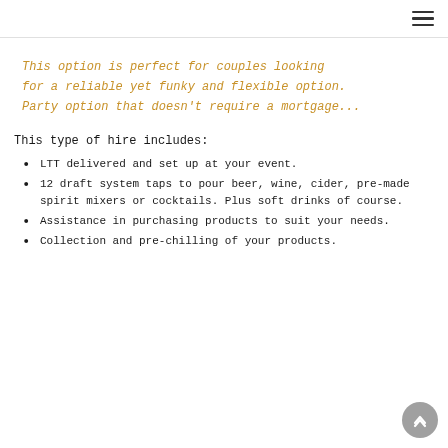≡
This option is perfect for couples looking for a reliable yet funky and flexible option. Party option that doesn't require a mortgage...
This type of hire includes:
LTT delivered and set up at your event.
12 draft system taps to pour beer, wine, cider, pre-made spirit mixers or cocktails. Plus soft drinks of course.
Assistance in purchasing products to suit your needs.
Collection and pre-chilling of your products.